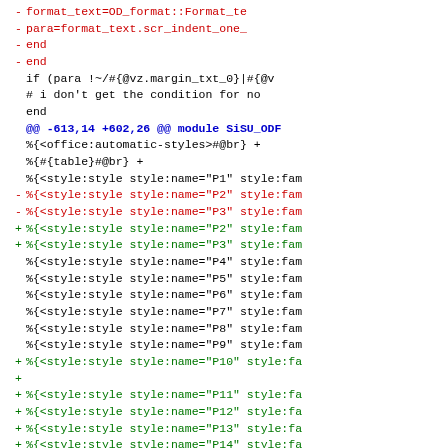[Figure (screenshot): A unified diff view showing code changes in a Ruby/template file. Deleted lines shown in red with minus markers, added lines in green with plus markers, context lines in black, and a diff hunk header in blue. Content includes Ruby code and XML/ODF style template strings.]